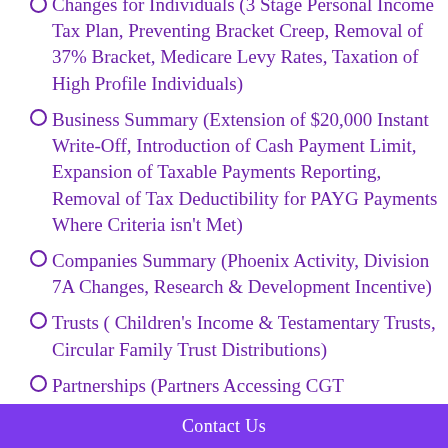Changes for Individuals (3 Stage Personal Income Tax Plan, Preventing Bracket Creep, Removal of 37% Bracket, Medicare Levy Rates, Taxation of High Profile Individuals)
Business Summary (Extension of $20,000 Instant Write-Off, Introduction of Cash Payment Limit, Expansion of Taxable Payments Reporting, Removal of Tax Deductibility for PAYG Payments Where Criteria isn't Met)
Companies Summary (Phoenix Activity, Division 7A Changes, Research & Development Incentive)
Trusts ( Children's Income & Testamentary Trusts, Circular Family Trust Distributions)
Partnerships (Partners Accessing CGT Concessions)
Contact Us